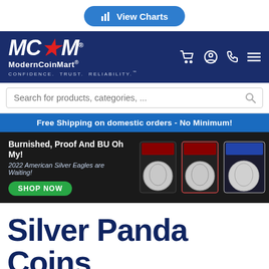[Figure (screenshot): View Charts button — blue rounded rectangle with bar chart icon]
[Figure (logo): ModernCoinMart logo — MC★M in white/red italic letters on navy background, with tagline CONFIDENCE. TRUST. RELIABILITY.]
Search for products, categories, ...
Free Shipping on domestic orders - No Minimum!
[Figure (screenshot): Promotional banner: 'Burnished, Proof And BU Oh My! 2022 American Silver Eagles are Waiting!' with SHOP NOW button and coin images on dark background]
Silver Panda Coins